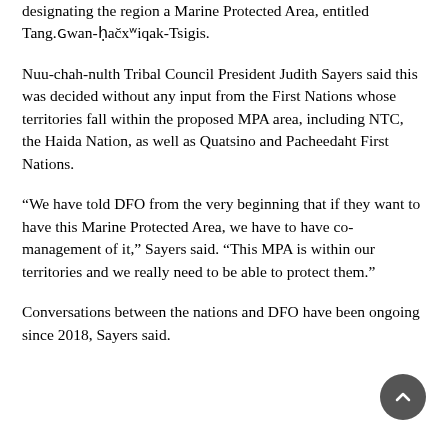designating the region a Marine Protected Area, entitled Tang.ɢwan-ḥačxʷiqak-Tsigis.
Nuu-chah-nulth Tribal Council President Judith Sayers said this was decided without any input from the First Nations whose territories fall within the proposed MPA area, including NTC, the Haida Nation, as well as Quatsino and Pacheedaht First Nations.
“We have told DFO from the very beginning that if they want to have this Marine Protected Area, we have to have co-management of it,” Sayers said. “This MPA is within our territories and we really need to be able to protect them.”
Conversations between the nations and DFO have been ongoing since 2018, Sayers said.